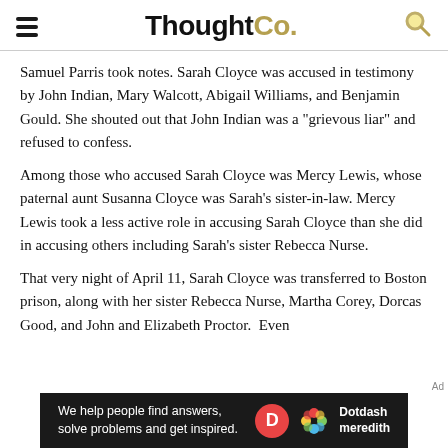ThoughtCo.
Samuel Parris took notes. Sarah Cloyce was accused in testimony by John Indian, Mary Walcott, Abigail Williams, and Benjamin Gould. She shouted out that John Indian was a "grievous liar" and refused to confess.
Among those who accused Sarah Cloyce was Mercy Lewis, whose paternal aunt Susanna Cloyce was Sarah's sister-in-law. Mercy Lewis took a less active role in accusing Sarah Cloyce than she did in accusing others including Sarah's sister Rebecca Nurse.
That very night of April 11, Sarah Cloyce was transferred to Boston prison, along with her sister Rebecca Nurse, Martha Corey, Dorcas Good, and John and Elizabeth Proctor.  Even
[Figure (infographic): Dotdash Meredith advertisement banner: 'We help people find answers, solve problems and get inspired.' with Dotdash Meredith logo]